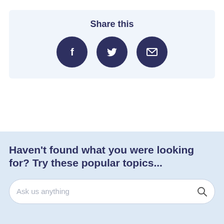Share this
[Figure (infographic): Three circular dark navy social share buttons: Facebook (f icon), Twitter (bird icon), and Email (envelope icon)]
Haven't found what you were looking for? Try these popular topics...
Ask us anything